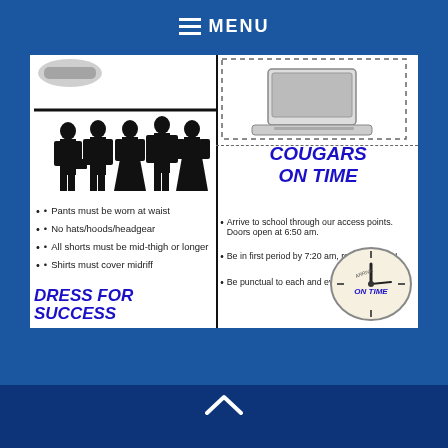MENU
[Figure (infographic): School rules infographic with two columns: left showing business professional silhouettes and dress code rules (DRESS FOR SUCCESS), right showing cougars on time rules with a clock image]
Pants must be worn at waist
No hats/hoods/headgear
All shorts must be mid-thigh or longer
Shirts must cover midriff
DRESS FOR SUCCESS
COUGARS ON TIME
Arrive to school through our access points. Doors open at 6:50 am.
Be in first period by 7:20 am, ready to learn!
Be punctual to each and every class!